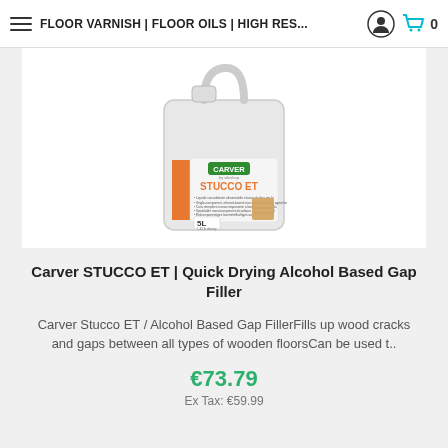FLOOR VARNISH | FLOOR OILS | HIGH RES...
[Figure (photo): A white 5-litre plastic jerry can/jug with handle, bearing a product label showing CARVER brand in green, STUCCO ET in orange text, with multilingual bullet points and a wood texture image, labeled 5L at the bottom.]
Carver STUCCO ET | Quick Drying Alcohol Based Gap Filler
Carver Stucco ET / Alcohol Based Gap FillerFills up wood cracks and gaps between all types of wooden floorsCan be used t..
€73.79
Ex Tax: €59.99